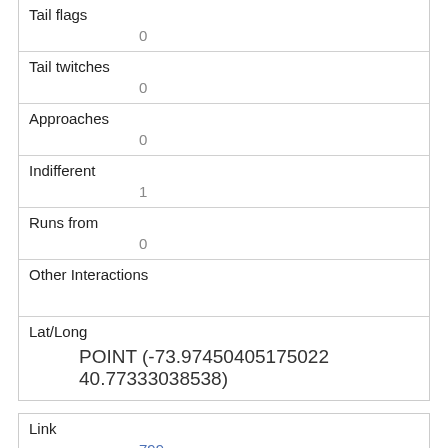| Tail flags | 0 |
| Tail twitches | 0 |
| Approaches | 0 |
| Indifferent | 1 |
| Runs from | 0 |
| Other Interactions |  |
| Lat/Long | POINT (-73.97450405175022 40.77333038538) |
| Link | 799 |
| rowid | 799 |
| longitude |  |